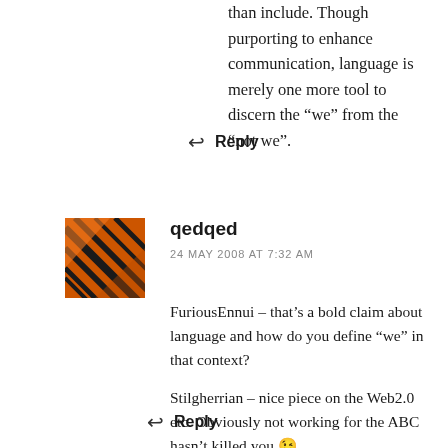than include. Though purporting to enhance communication, language is merely one more tool to discern the “we” from the “not we”.
↩ Reply
[Figure (photo): Avatar image for user qedqed — abstract orange and black striped graphic]
qedqed
24 MAY 2008 AT 7:32 AM
FuriousEnnui – that’s a bold claim about language and how do you define “we” in that context?

Stilgherrian – nice piece on the Web2.0 etc. Obviously not working for the ABC hasn’t killed you 😉
↩ Reply